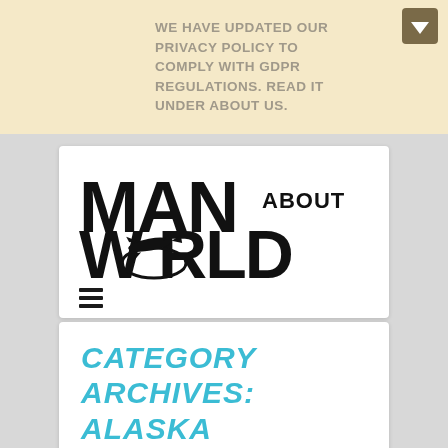WE HAVE UPDATED OUR PRIVACY POLICY TO COMPLY WITH GDPR REGULATIONS. READ IT UNDER ABOUT US.
[Figure (logo): Man About World logo with airplane graphic]
CATEGORY ARCHIVES: ALASKA